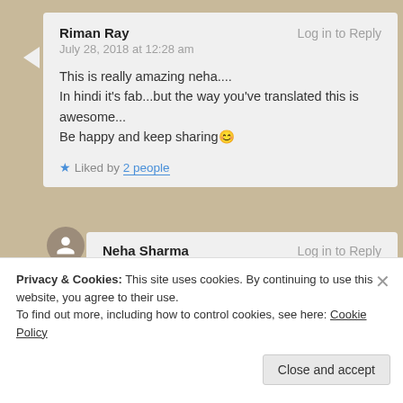Riman Ray — Log in to Reply
July 28, 2018 at 12:28 am

This is really amazing neha....
In hindi it's fab...but the way you've translated this is awesome...
Be happy and keep sharing 😊

★ Liked by 2 people
Neha Sharma — Log in to Reply
July 28, 2018 at 12:30 am
Privacy & Cookies: This site uses cookies. By continuing to use this website, you agree to their use.
To find out more, including how to control cookies, see here: Cookie Policy
Close and accept